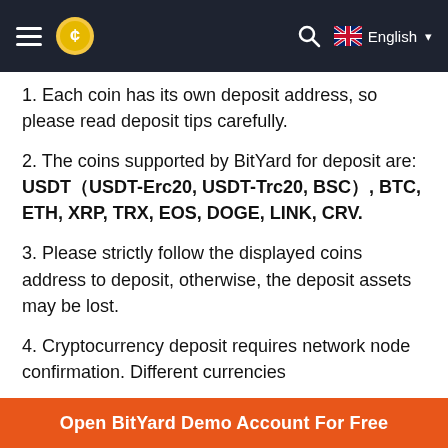BitYard — English
1. Each coin has its own deposit address, so please read deposit tips carefully.
2. The coins supported by BitYard for deposit are: USDT（USDT-Erc20, USDT-Trc20, BSC）, BTC, ETH, XRP, TRX, EOS, DOGE, LINK, CRV.
3. Please strictly follow the displayed coins address to deposit, otherwise, the deposit assets may be lost.
4. Cryptocurrency deposit requires network node confirmation. Different currencies
Open BitYard Demo Account For Free